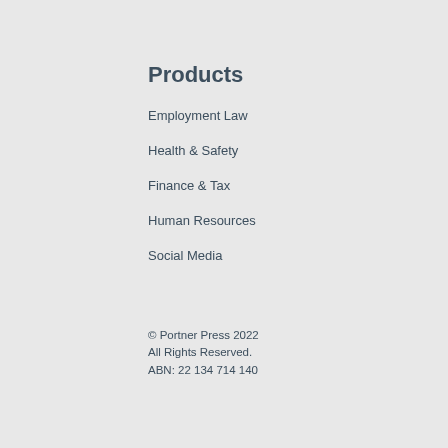Products
Employment Law
Health & Safety
Finance & Tax
Human Resources
Social Media
© Portner Press 2022
All Rights Reserved.
ABN: 22 134 714 140